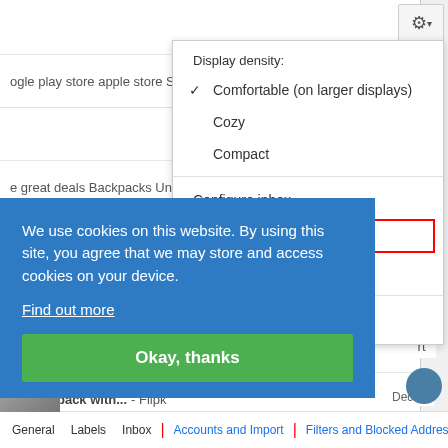[Figure (screenshot): Gmail inbox background showing partial email rows: 'ogle play store apple store S', 'e great deals Backpacks Un', 'uora is growing: we've exp', '% Cashback with... - Flipk', 'u need, Jitendra Shop and', 'e Voucher December Bests']
[Figure (screenshot): Settings gear icon button in top-right corner with dropdown arrow]
[Figure (screenshot): Gmail settings dropdown menu showing: Display density: with checkmark on Comfortable (on larger displays), Cozy, Compact, Configure inbox, Settings (highlighted with red border), Themes, Customize address]
[Figure (screenshot): Cookie consent banner in blue: 'We use cookies on this website. By using this site, you agree that we may store and access cookies on your device. Find out more' with green 'Okay, thanks' button]
[Figure (screenshot): Bottom navigation tab bar: General | Labels | Inbox | Accounts and Import | Filters and Blocked Addresses | Forwarding a...]